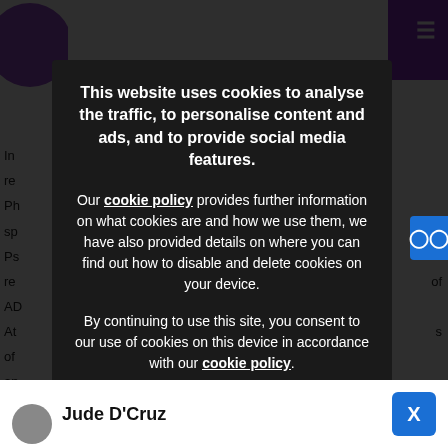[Figure (screenshot): Background webpage with partial text visible behind cookie consent overlay]
This website uses cookies to analyse the traffic, to personalise content and ads, and to provide social media features.
Our cookie policy provides further information on what cookies are and how we use them, we have also provided details on where you can find out how to disable and delete cookies on your device.
By continuing to use this site, you consent to our use of cookies on this device in accordance with our cookie policy.
OK
Jude D'Cruz